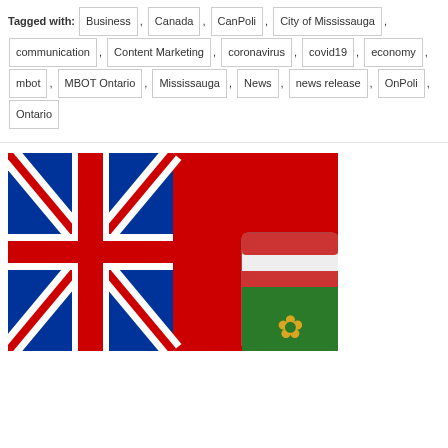Tagged with: Business , Canada , CanPoli , City of Mississauga , communication , Content Marketing , coronavirus , covid19 , economy , mbot , MBOT Ontario , Mississauga , News , news release , OnPoli , Ontario
[Figure (photo): Ontario provincial flag — red field with Union Jack in upper left canton and Ontario shield of arms (green/red/gold maple leaf) on right side, partially cropped]